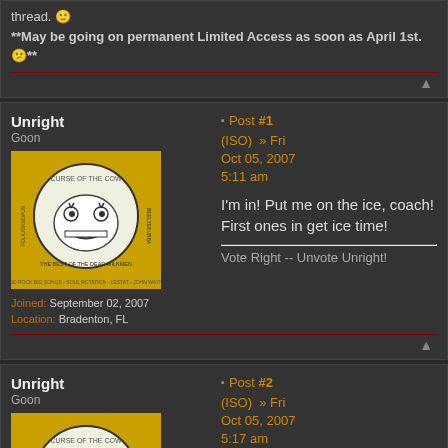thread. **May be going on permanent Limited Access as soon as April 1st. **
Unright
Goon
Joined: September 02, 2007
Location: Bradenton, FL
Post #1 (ISO) » Fri Oct 05, 2007 5:11 am
I'm in! Put me on the ice, coach!
First ones in get ice time!
Vote Right -- Unvote Unright!
Unright
Goon
Post #2 (ISO) » Fri Oct 05, 2007 5:17 am
Foolster41 wrote:
This thread is for those who signed up for the Eagles team. If you are on the hawks, you